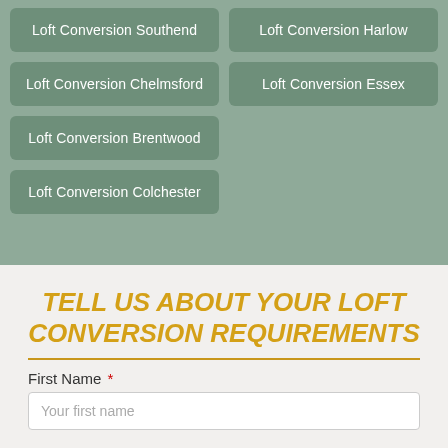Loft Conversion Southend
Loft Conversion Harlow
Loft Conversion Chelmsford
Loft Conversion Essex
Loft Conversion Brentwood
Loft Conversion Colchester
TELL US ABOUT YOUR LOFT CONVERSION REQUIREMENTS
First Name *
Your first name